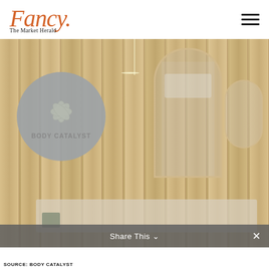[Figure (logo): Fancy The Market Herald logo in orange cursive script with gothic subtitle]
[Figure (photo): Interior of Body Catalyst clinic showing wood slat wall panels, a circular grey logo sign reading BODY CATALYST, an arched mirror, and reception desk area]
SOURCE: BODY CATALYST
Share This